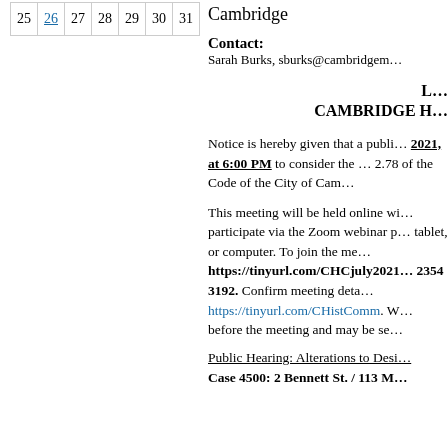| 25 | 26 | 27 | 28 | 29 | 30 | 31 |
Cambridge
Contact: Sarah Burks, sburks@cambridgem...
L... CAMBRIDGE H...
Notice is hereby given that a publi... 2021, at 6:00 PM to consider the ... 2.78 of the Code of the City of Cam...
This meeting will be held online wi... participate via the Zoom webinar p... tablet, or computer. To join the me... https://tinyurl.com/CHCjuly2021... 2354 3192. Confirm meeting deta... https://tinyurl.com/CHistComm. W... before the meeting and may be se...
Public Hearing: Alterations to Desi...
Case 4500: 2 Bennett St. / 113 M...